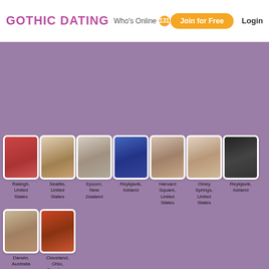GOTHIC DATING — Who's Online 131 — Join for Free — Login
[Figure (screenshot): Purple background section with user profile thumbnails for a gothic dating website]
Raleigh, United States
Seattle, United States
Epsom, New Zealand
Reykjavik, Iceland
Harvard Square, United States
Olney Springs, United States
Reykjavik, Iceland
Darwin, Australia
Cleveland, Ohio, Cuyahoga